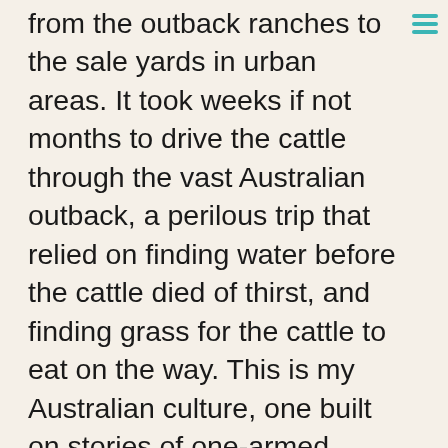from the outback ranches to the sale yards in urban areas. It took weeks if not months to drive the cattle through the vast Australian outback, a perilous trip that relied on finding water before the cattle died of thirst, and finding grass for the cattle to eat on the way. This is my Australian culture, one built on stories of one-armed cooks who made beef patties with one hand, of lonely men who chose solitude, billy tea and cows above the sweet life of a country town. I can smell the bushland they traveled through, I can hear the crackle of dried gum leaves under their feet, I can see the camp fires burning at night. It's all in my imagination. Its part of why I like being